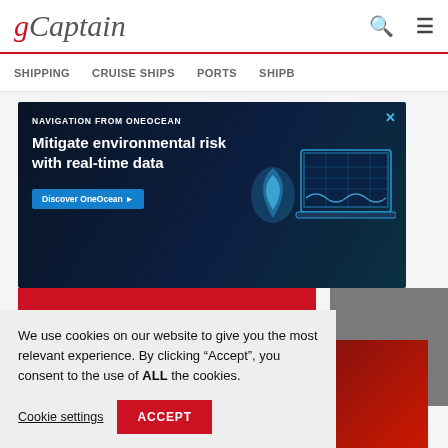[Figure (logo): gCaptain website logo with red stylized 'g' and italic grey 'Captain' text]
SHIPPING   CRUISE SHIPS   PORTS   SHIPB
[Figure (screenshot): Advertisement banner for OneOcean navigation: 'NAVIGATION FROM ONEOCEAN' headline, 'Mitigate environmental risk with real-time data' body text, 'Discover OneOcean' button, graphic of laptop/screen with maritime chart]
We use cookies on our website to give you the most relevant experience. By clicking “Accept”, you consent to the use of ALL the cookies.
Cookie settings   ACCEPT